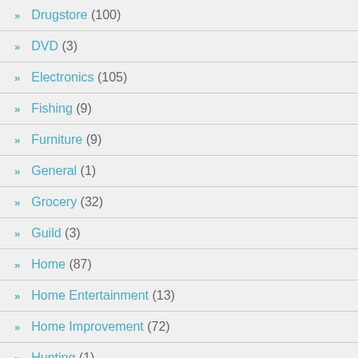Drugstore (100)
DVD (3)
Electronics (105)
Fishing (9)
Furniture (9)
General (1)
Grocery (32)
Guild (3)
Home (87)
Home Entertainment (13)
Home Improvement (72)
Hunting (1)
Jewelry (4)